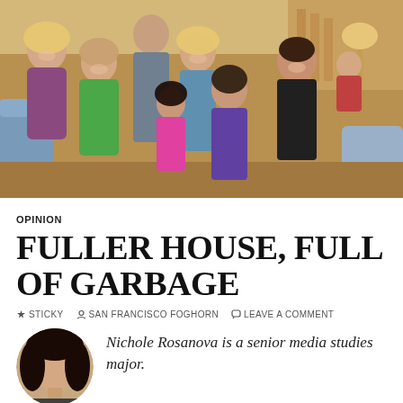[Figure (photo): Group photo of the cast of Fuller House TV show standing in a living room set, approximately 9 people including adults and children of various ages, smiling and posing together]
OPINION
FULLER HOUSE, FULL OF GARBAGE
📌 STICKY  👤 SAN FRANCISCO FOGHORN  💬 LEAVE A COMMENT
[Figure (photo): Circular author headshot photo of Nichole Rosanova, showing dark hair]
Nichole Rosanova is a senior media studies major.